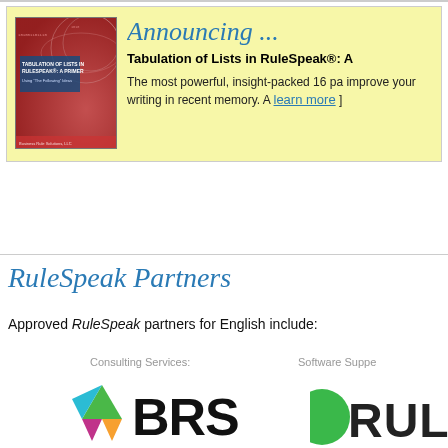[Figure (illustration): Yellow announcement box with book cover image on the left showing 'Tabulation of Lists in RuleSpeak: A Primer' and announcement text on the right]
Announcing ...
Tabulation of Lists in RuleSpeak®: A
The most powerful, insight-packed 16 pa improve your writing in recent memory. A learn more ]
RuleSpeak Partners
Approved RuleSpeak partners for English include:
Consulting Services:
Software Supp
[Figure (logo): BRS logo with colorful triangular icon and large BRS text]
[Figure (logo): RUL partial logo (cut off at right edge)]